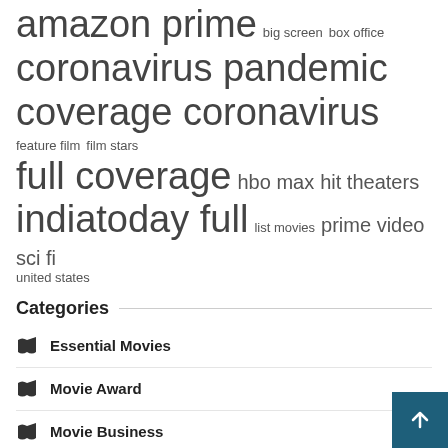amazon prime  big screen  box office
coronavirus pandemic
coverage coronavirus  feature film  film stars
full coverage  hbo max  hit theaters
indiatoday full  list movies  prime video  sci fi
united states
Categories
Essential Movies
Movie Award
Movie Business